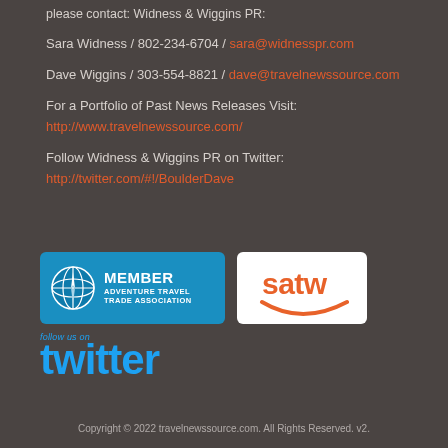please contact: Widness & Wiggins PR:
Sara Widness / 802-234-6704 / sara@widnesspr.com
Dave Wiggins / 303-554-8821 / dave@travelnewssource.com
For a Portfolio of Past News Releases Visit:
http://www.travelnewssource.com/
Follow Widness & Wiggins PR on Twitter:
http://twitter.com/#!/BoulderDave
[Figure (logo): Adventure Travel Trade Association Member badge with globe icon, blue background]
[Figure (logo): SATW logo on white background with orange smile/arc]
[Figure (logo): Follow us on Twitter logo in blue]
Copyright © 2022 travelnewssource.com. All Rights Reserved. v2.